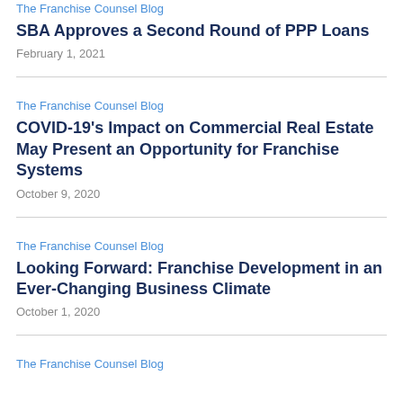The Franchise Counsel Blog
SBA Approves a Second Round of PPP Loans
February 1, 2021
The Franchise Counsel Blog
COVID-19's Impact on Commercial Real Estate May Present an Opportunity for Franchise Systems
October 9, 2020
The Franchise Counsel Blog
Looking Forward: Franchise Development in an Ever-Changing Business Climate
October 1, 2020
The Franchise Counsel Blog